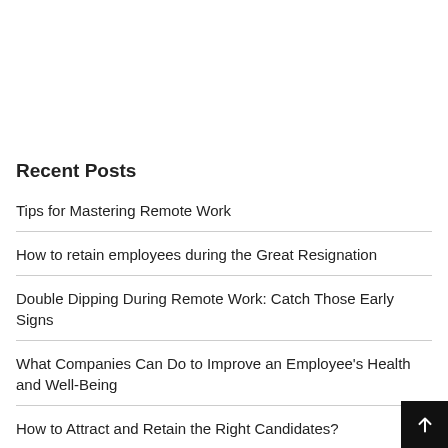Recent Posts
Tips for Mastering Remote Work
How to retain employees during the Great Resignation
Double Dipping During Remote Work: Catch Those Early Signs
What Companies Can Do to Improve an Employee's Health and Well-Being
How to Attract and Retain the Right Candidates?